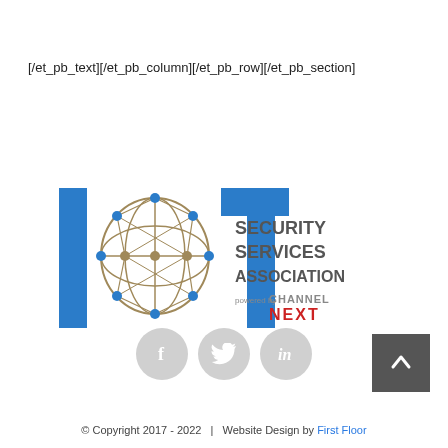[/et_pb_text][/et_pb_column][/et_pb_row][/et_pb_section]
[Figure (logo): IoT Security Services Association logo powered by ChannelNext]
[Figure (infographic): Social media icons: Facebook, Twitter, LinkedIn in gray circles]
[Figure (other): Back to top button - dark gray square with upward chevron]
© Copyright 2017 - 2022   |   Website Design by First Floor